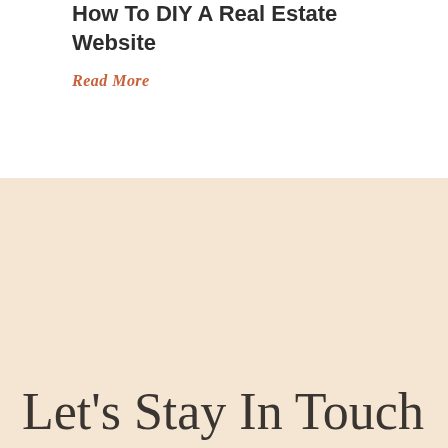How To DIY A Real Estate Website
Read More
Let's Stay In Touch
Get the latest real estate lead generation tips, trends, and tactics delivered right to your email inbox weekly so you can grow your business to 7-figures and beyond!
⭍ START PINNING